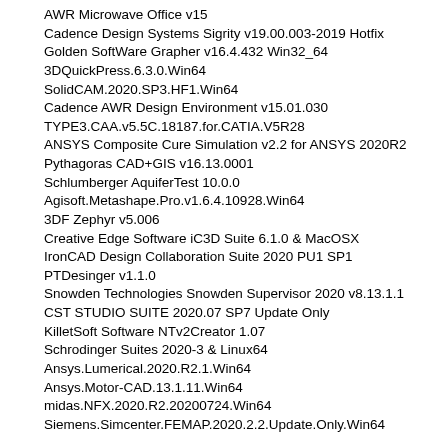AWR Microwave Office v15
Cadence Design Systems Sigrity v19.00.003-2019 Hotfix
Golden SoftWare Grapher v16.4.432 Win32_64
3DQuickPress.6.3.0.Win64
SolidCAM.2020.SP3.HF1.Win64
Cadence AWR Design Environment v15.01.030
TYPE3.CAA.v5.5C.18187.for.CATIA.V5R28
ANSYS Composite Cure Simulation v2.2 for ANSYS 2020R2
Pythagoras CAD+GIS v16.13.0001
Schlumberger AquiferTest 10.0.0
Agisoft.Metashape.Pro.v1.6.4.10928.Win64
3DF Zephyr v5.006
Creative Edge Software iC3D Suite 6.1.0 & MacOSX
IronCAD Design Collaboration Suite 2020 PU1 SP1
PTDesinger v1.1.0
Snowden Technologies Snowden Supervisor 2020 v8.13.1.1
CST STUDIO SUITE 2020.07 SP7 Update Only
KilletSoft Software NTv2Creator 1.07
Schrodinger Suites 2020-3 & Linux64
Ansys.Lumerical.2020.R2.1.Win64
Ansys.Motor-CAD.13.1.11.Win64
midas.NFX.2020.R2.20200724.Win64
Siemens.Simcenter.FEMAP.2020.2.2.Update.Only.Win64